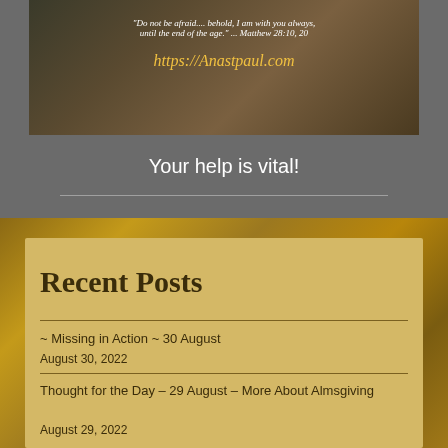[Figure (photo): Banner image with religious painting background showing text: 'Do not be afraid.... behold, I am with you always, until the end of the age.' ... Matthew 28:10,20 and https://Anastpaul.com]
Your help is vital!
Recent Posts
~ Missing in Action ~ 30 August
August 30, 2022
Thought for the Day – 29 August – More About Almsgiving
August 29, 2022